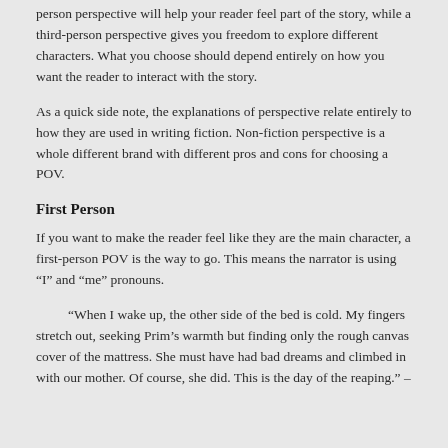person perspective will help your reader feel part of the story, while a third-person perspective gives you freedom to explore different characters. What you choose should depend entirely on how you want the reader to interact with the story.
As a quick side note, the explanations of perspective relate entirely to how they are used in writing fiction. Non-fiction perspective is a whole different brand with different pros and cons for choosing a POV.
First Person
If you want to make the reader feel like they are the main character, a first-person POV is the way to go. This means the narrator is using “I” and “me” pronouns.
“When I wake up, the other side of the bed is cold. My fingers stretch out, seeking Prim’s warmth but finding only the rough canvas cover of the mattress. She must have had bad dreams and climbed in with our mother. Of course, she did. This is the day of the reaping.” –